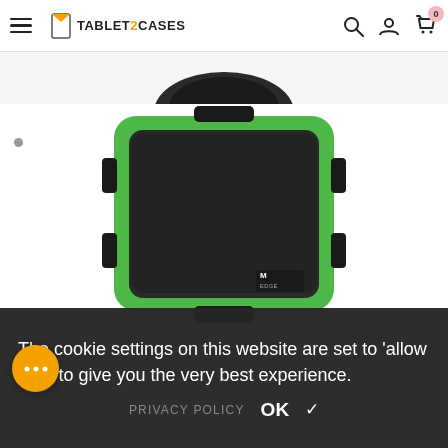TABLET2CASES - navigation header with hamburger menu, logo, search, user, and cart icons
[Figure (photo): A rugged protective tablet/device case by M-Edge brand. The case has a black hard shell with a bright green rubber bumper trim around the edges and corners. It features latch clips on the sides and bottom. The case is shown against a white background. An M-Edge logo is visible in the bottom right corner of the case.]
The cookie settings on this website are set to 'allow cookies' to give you the very best experience.
PRIVACY POLICY   OK  ✓